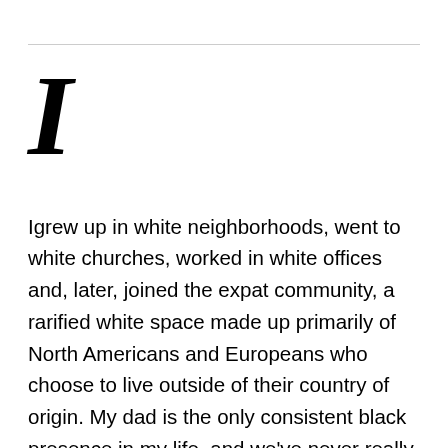I

Igrew up in white neighborhoods, went to white churches, worked in white offices and, later, joined the expat community, a rarified white space made up primarily of North Americans and Europeans who choose to live outside of their country of origin. My dad is the only consistent black presence in my life, and we’ve never really discussed race, identity, and privilege in terms of our lived experience. As a result, I’ve only recently developed a vocabulary to unpack what it’s like to be black in white spaces. Isolated incidents that “just didn’t sit right” — e.g. casual use of the word “lynching” in conversation, my dental hygienist touching my hair while cleaning my teeth